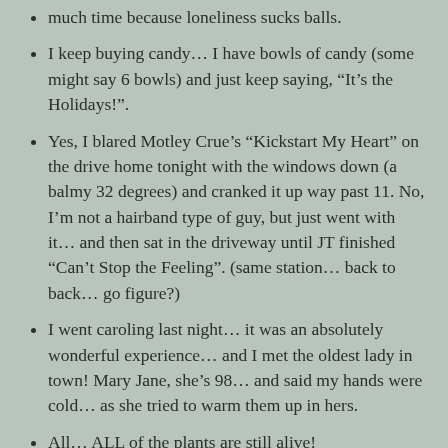much time because loneliness sucks balls.
I keep buying candy… I have bowls of candy (some might say 6 bowls) and just keep saying, “It’s the Holidays!”.
Yes, I blared Motley Crue’s “Kickstart My Heart” on the drive home tonight with the windows down (a balmy 32 degrees) and cranked it up way past 11. No, I’m not a hairband type of guy, but just went with it… and then sat in the driveway until JT finished “Can’t Stop the Feeling”. (same station… back to back… go figure?)
I went caroling last night… it was an absolutely wonderful experience… and I met the oldest lady in town! Mary Jane, she’s 98… and said my hands were cold… as she tried to warm them up in hers.
All… ALL of the plants are still alive!
Always remember to look for “Festive to the Left!”… but sometimes it’s on the right… or all around.
And simply… try to be good… to yourself and